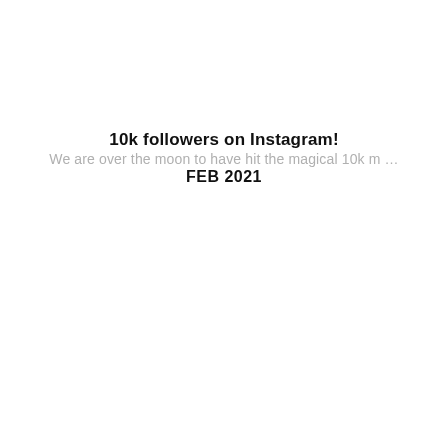10k followers on Instagram!
We are over the moon to have hit the magical 10k m …
FEB 2021